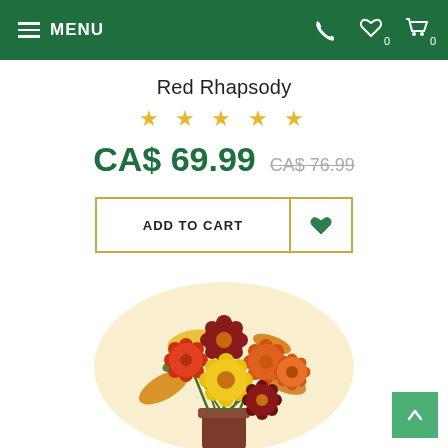MENU | phone | wishlist 0 | cart 0
Red Rhapsody
★ ★ ★ ★ ★
CA$ 69.99  CA$ 76.99
ADD TO CART
[Figure (photo): Bouquet of red, orange, dark red, and yellow gerbera daisies with autumn leaves in a vase]